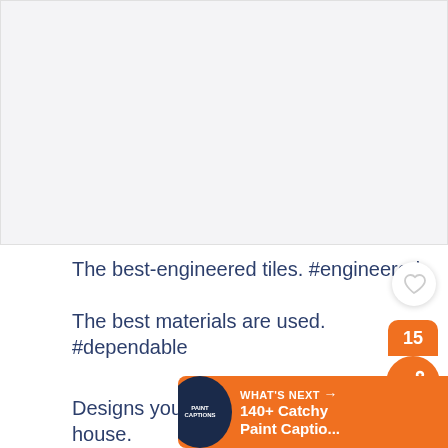[Figure (photo): Large light gray placeholder image area at top of page]
The best-engineered tiles. #engineered
The best materials are used. #dependable
Designs you can use anywhere in your house.
[Figure (infographic): Heart icon button (white circle with heart outline), share count badge showing 15 in orange, and orange circular share button with share icon]
[Figure (infographic): What's Next banner with dark circle logo icon, text 'WHAT'S NEXT' with arrow, '140+ Catchy Paint Captio...']